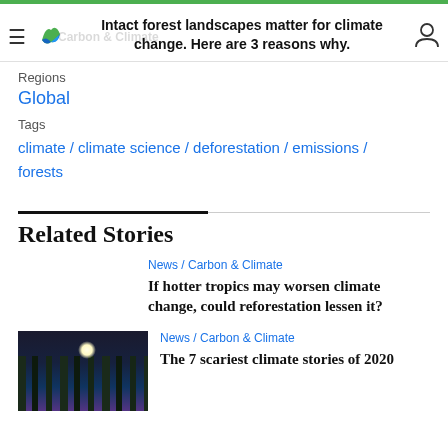Intact forest landscapes matter for climate change. Here are 3 reasons why.
Regions
Global
Tags
climate / climate science / deforestation / emissions / forests
Related Stories
News / Carbon & Climate
If hotter tropics may worsen climate change, could reforestation lessen it?
News / Carbon & Climate
The 7 scariest climate stories of 2020